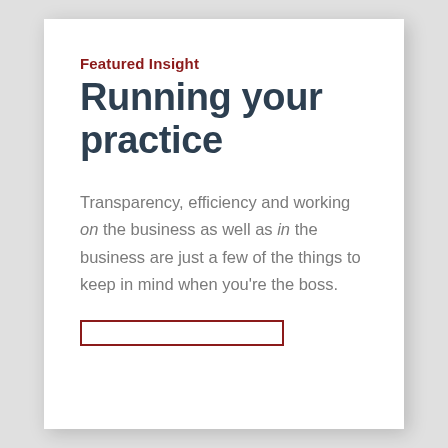Featured Insight
Running your practice
Transparency, efficiency and working on the business as well as in the business are just a few of the things to keep in mind when you're the boss.
[Figure (other): Red rectangular border/box element at bottom of page]